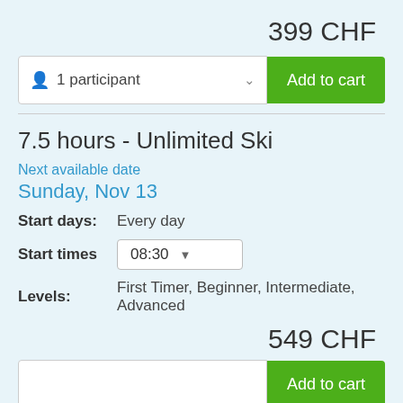399 CHF
1 participant  Add to cart
7.5 hours - Unlimited Ski
Next available date
Sunday, Nov 13
Start days:  Every day
Start times  08:30
Levels:  First Timer, Beginner, Intermediate, Advanced
549 CHF
Add to cart